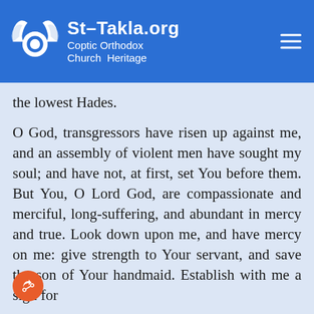St-Takla.org Coptic Orthodox Church Heritage
the lowest Hades.
O God, transgressors have risen up against me, and an assembly of violent men have sought my soul; and have not, at first, set You before them. But You, O Lord God, are compassionate and merciful, long-suffering, and abundant in mercy and true. Look down upon me, and have mercy on me: give strength to Your servant, and save the son of Your handmaid. Establish with me a sign for